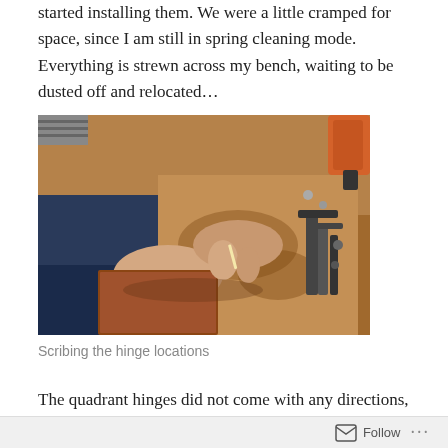started installing them. We were a little cramped for space, since I am still in spring cleaning mode. Everything is strewn across my bench, waiting to be dusted off and relocated…
[Figure (photo): Person's hands scribing or marking a wooden piece on a workbench with clamps and tools visible in the background]
Scribing the hinge locations
The quadrant hinges did not come with any directions, so
Follow